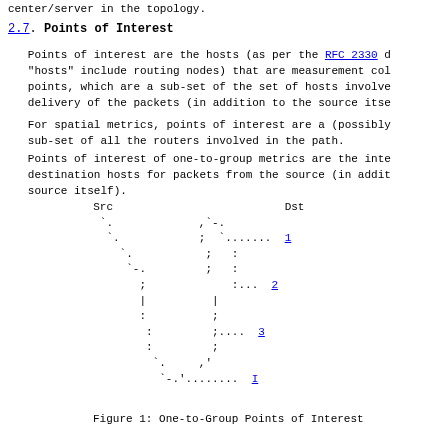center/server in the topology.
2.7.  Points of Interest
Points of interest are the hosts (as per the RFC 2330 d
"hosts" include routing nodes) that are measurement col
points, which are a sub-set of the set of hosts involve
delivery of the packets (in addition to the source itse
For spatial metrics, points of interest are a (possibly
sub-set of all the routers involved in the path.
Points of interest of one-to-group metrics are the inte
destination hosts for packets from the source (in addit
source itself).
[Figure (illustration): ASCII art diagram showing one-to-group points of interest. A source (Src) on the left connects via a branching dotted path to a destination (Dst) on the upper right, with three numbered destination points (1, 2, 3) and a final destination labeled I on the lower right.]
Figure 1: One-to-Group Points of Interest